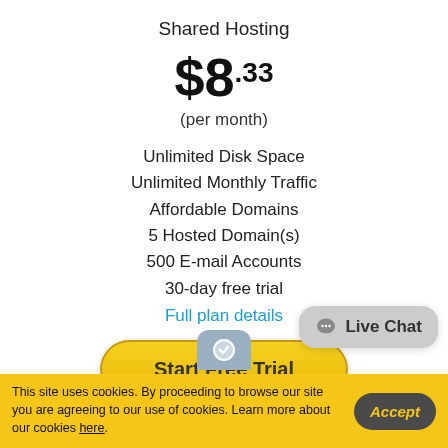Shared Hosting
$8.33
(per month)
Unlimited Disk Space
Unlimited Monthly Traffic
Affordable Domains
5 Hosted Domain(s)
500 E-mail Accounts
30-day free trial
Full plan details
Start Free Trial
Live Chat
This site uses cookies. By proceeding to browse our site you are agreeing to our use of cookies. Learn more about our cookies here.